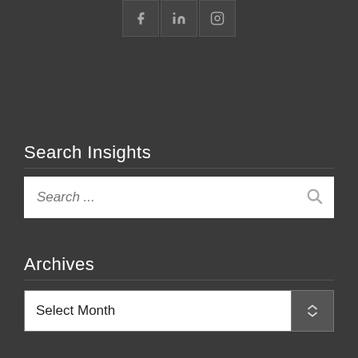[Figure (other): Social media icon buttons for Facebook, LinkedIn, and Instagram displayed in dark bordered squares at the top of the page]
Search Insights
[Figure (other): Search input bar with placeholder text 'Search ...' and a search icon on the right, white background]
Archives
[Figure (other): Dropdown selector showing 'Select Month' with an up/down arrow button on the right side]